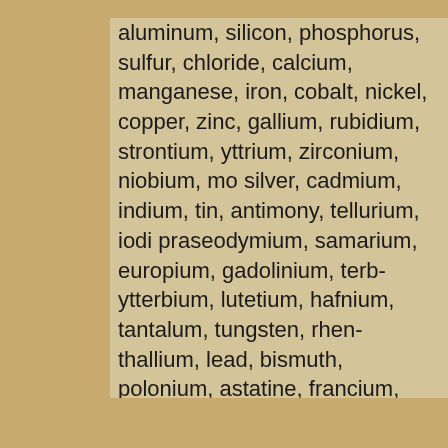aluminum, silicon, phosphorus, sulfur, chloride, calcium, manganese, iron, cobalt, nickel, copper, zinc, gallium, rubidium, strontium, yttrium, zirconium, niobium, mo... silver, cadmium, indium, tin, antimony, tellurium, iodi... praseodymium, samarium, europium, gadolinium, terb... ytterbium, lutetium, hafnium, tantalum, tungsten, rhen... thallium, lead, bismuth, polonium, astatine, francium, ... uranium, neptunium and plutonium.
I wish someone would tell these people that, for example, ne... let alone in salt. Unless, I suppose, if you count nuclear fallo... What bothers me most is what this says about the level of sc... and the people buying it. Does no one actually read the list? is? It's enough to make you despair for the future of mankind. Pretty salt, though.
Source: eBay seller saltwonders
Contributor: Theodore Gray
Acquired: 28 March, 2009
Text Updated: 4 April, 2009
Price: $15
Size: 0.25"
Composition: NaClSbCsDyErEuGdHfHoInLaLuNdPrSmS...